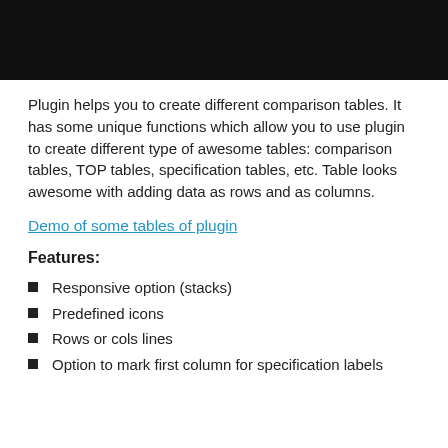[Figure (photo): Dark banner image at the top of the page, mostly black background with partial content visible]
Plugin helps you to create different comparison tables. It has some unique functions which allow you to use plugin to create different type of awesome tables: comparison tables, TOP tables, specification tables, etc. Table looks awesome with adding data as rows and as columns.
Demo of some tables of plugin
Features:
Responsive option (stacks)
Predefined icons
Rows or cols lines
Option to mark first column for specification labels